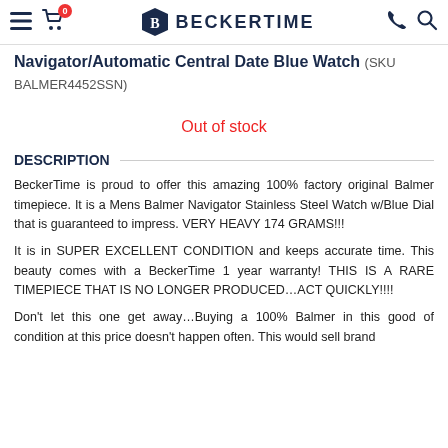BECKERTIME (navigation bar with menu, cart, logo, phone, search)
Navigator/Automatic Central Date Blue Watch (SKU BALMER4452SSN)
Out of stock
DESCRIPTION
BeckerTime is proud to offer this amazing 100% factory original Balmer timepiece. It is a Mens Balmer Navigator Stainless Steel Watch w/Blue Dial that is guaranteed to impress. VERY HEAVY 174 GRAMS!!!
It is in SUPER EXCELLENT CONDITION and keeps accurate time. This beauty comes with a BeckerTime 1 year warranty! THIS IS A RARE TIMEPIECE THAT IS NO LONGER PRODUCED…ACT QUICKLY!!!!
Don't let this one get away…Buying a 100% Balmer in this good of condition at this price doesn't happen often. This would sell brand